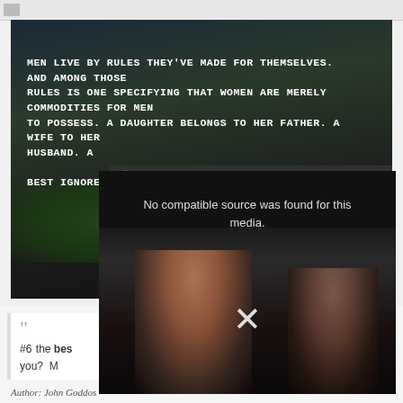[Figure (screenshot): A dark night-time scene of a house with trees in the background, with a bold white uppercase text quote overlay reading: MEN LIVE BY RULES THEY'VE MADE FOR THEMSELVES. AND AMONG THOSE RULES IS ONE SPECIFYING THAT WOMEN ARE MERELY COMMODITIES FOR MEN TO POSSESS. A DAUGHTER BELONGS TO HER FATHER. A WIFE TO HER HUSBAND. A ... BEST IGNORE...]
MEN LIVE BY RULES THEY'VE MADE FOR THEMSELVES. AND AMONG THOSE RULES IS ONE SPECIFYING THAT WOMEN ARE MERELY COMMODITIES FOR MEN TO POSSESS. A DAUGHTER BELONGS TO HER FATHER. A WIFE TO HER HUSBAND. A [close button] Powered By VDO.AI BEST IGNORE
[Figure (screenshot): A video player overlay showing 'No compatible source was found for this media.' with a large X button, overlaid on a cinema scene with people watching a screen.]
No compatible source was found for this media.
#6 ... the best ... you? M...
Author: John Goddos